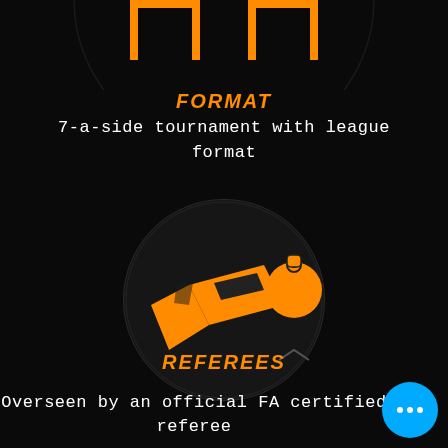[Figure (illustration): Two orange football goal post icons (top crop) on black background]
FORMAT
7-a-side tournament with league format
[Figure (illustration): Orange referee whistle icon on dark circular background]
REFEREES
Overseen by an official FA certified referee